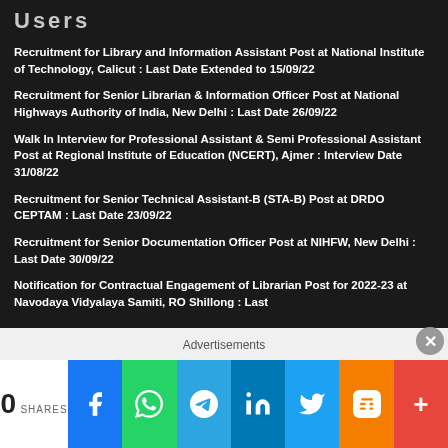Users
Recruitment for Library and Information Assistant Post at National Institute of Technology, Calicut : Last Date Extended to 15/09/22
Recruitment for Senior Librarian & Information Officer Post at National Highways Authority of India, New Delhi : Last Date 26/09/22
Walk In Interview for Professional Assistant & Semi Professional Assistant Post at Regional Institute of Education (NCERT), Ajmer : Interview Date 31/08/22
Recruitment for Senior Technical Assistant-B (STA-B) Post at DRDO CEPTAM : Last Date 23/09/22
Recruitment for Senior Documentation Officer Post at NIHFW, New Delhi : Last Date 30/09/22
Notification for Contractual Engagement of Librarian Post for 2022-23 at Navodaya Vidyalaya Samiti, RO Shillong : Last
Advertisements
0 SHARES